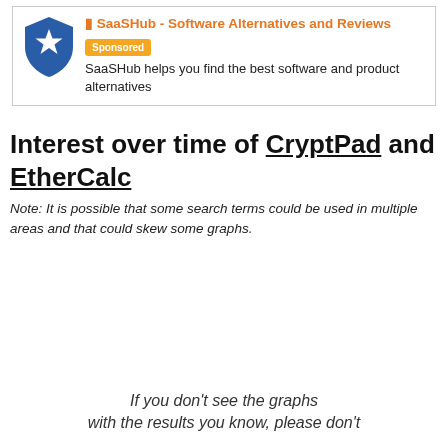[Figure (logo): SaaSHub blue shield logo with white star]
SaaSHub - Software Alternatives and Reviews Sponsored
SaaSHub helps you find the best software and product alternatives
Interest over time of CryptPad and EtherCalc
Note: It is possible that some search terms could be used in multiple areas and that could skew some graphs.
If you don't see the graphs with the results you know, please don't